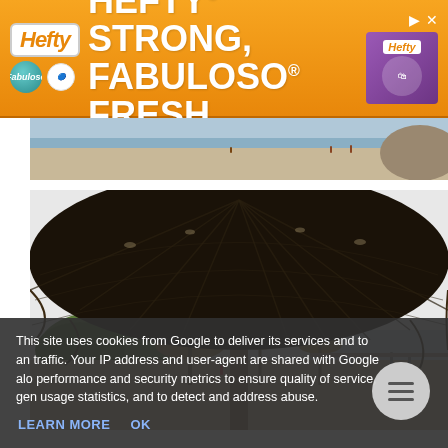[Figure (infographic): Hefty brand advertisement banner with orange gradient background. Features Hefty logo in white rounded rectangle, Fabuloso and Arm & Hammer logos on left, large bold white text reading HEFTY STRONG, FABULOSO FRESH, and product packaging image on right. Play and close icons visible top right.]
[Figure (photo): Partial beach scene photo showing sandy beach, water, and rocky outcrop in the background. A back arrow UI element is visible on the left.]
[Figure (photo): Photo taken from under a large thatched/woven beach umbrella looking outward at a beach scene with multiple other thatched umbrellas, trees on a hillside in the background, people on the beach, and calm ocean water on the right.]
This site uses cookies from Google to deliver its services and to analyze traffic. Your IP address and user-agent are shared with Google along with performance and security metrics to ensure quality of service, generate usage statistics, and to detect and address abuse.
LEARN MORE    OK